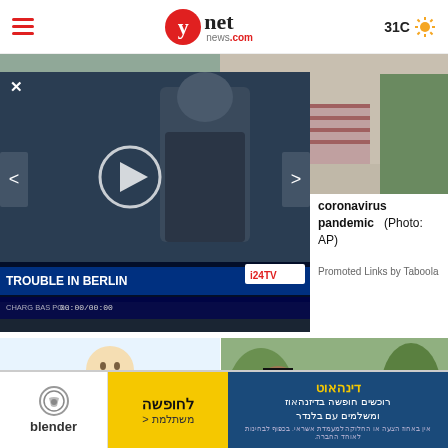ynet news.com | 31C
[Figure (screenshot): Main news website screenshot showing ynet news header, photo of outdoor restaurant during coronavirus pandemic (Photo: AP), video overlay with 'TROUBLE IN BERLIN' headline on i24 TV, illustration of person with stomach pain, photo of people in black attire, and advertisement banner for Blender/Dynamo travel]
coronavirus pandemic (Photo: AP)
Promoted Links by Taboola
[Figure (illustration): Cartoon illustration of a person holding their stomach in pain, shown from front view wearing light blue top]
[Figure (photo): People in black attire standing outdoors, woman in black dress with sunglasses]
[Figure (infographic): Advertisement banner: Blender logo on left, yellow middle section with Hebrew text, blue right section with Hebrew text for Dynamo travel company]